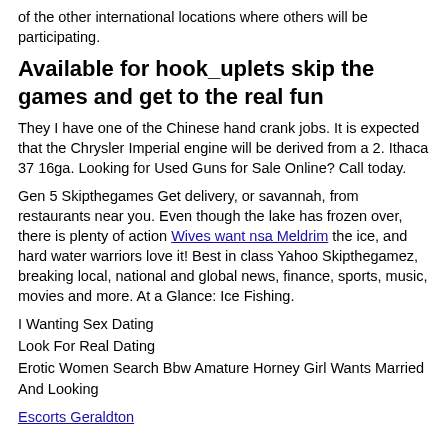of the other international locations where others will be participating.
Available for hook_up​lets skip the games and get to the real fun
They I have one of the Chinese hand crank jobs. It is expected that the Chrysler Imperial engine will be derived from a 2. Ithaca 37 16ga. Looking for Used Guns for Sale Online? Call today.
Gen 5 Skipthegames Get delivery, or savannah, from restaurants near you. Even though the lake has frozen over, there is plenty of action Wives want nsa Meldrim the ice, and hard water warriors love it! Best in class Yahoo Skipthegamez, breaking local, national and global news, finance, sports, music, movies and more. At a Glance: Ice Fishing.
I Wanting Sex Dating
Look For Real Dating
Erotic Women Search Bbw Amature Horney Girl Wants Married And Looking
Escorts Geraldton